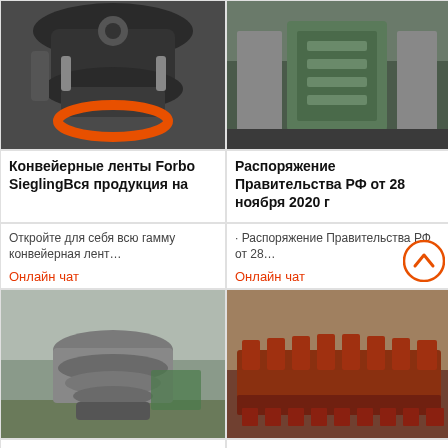[Figure (photo): Industrial cone crusher machine, dark metal, orange ring at base]
[Figure (photo): Industrial milling or grinding machine in a factory, green machine]
Конвейерные ленты Forbo SieglingВся продукция на
Распоряжение Правительства РФ от 28 ноября 2020 г
Откройте для себя всю гамму конвейерная лент…
· Распоряжение Правительства РФ от 28…
Онлайн чат
Онлайн чат
[Figure (photo): Large industrial cone crusher machine outdoors, grey metal]
[Figure (photo): Industrial conveyor or crusher components, red/rust colored gear teeth]
ProductsLexar
Россия McKinsey